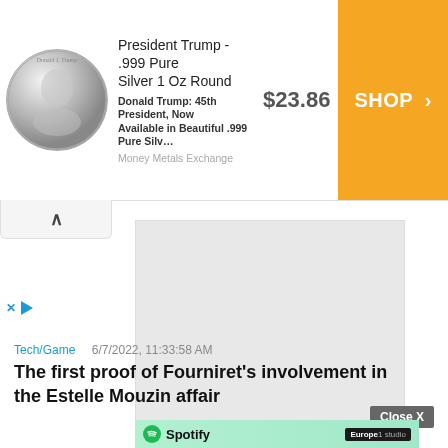[Figure (screenshot): Advertisement banner for President Trump .999 Pure Silver 1 Oz Round coin. Shows coin image, price $23.86, and orange SHOP button. Money Metals Exchange.]
[Figure (photo): Gray placeholder image area in article]
Tech/Game    6/7/2022, 11:33:58 AM
The first proof of Fourniret's involvement in the Estelle Mouzin affair
[Figure (screenshot): Spotify and Europe 1 studio advertisement banner at bottom]